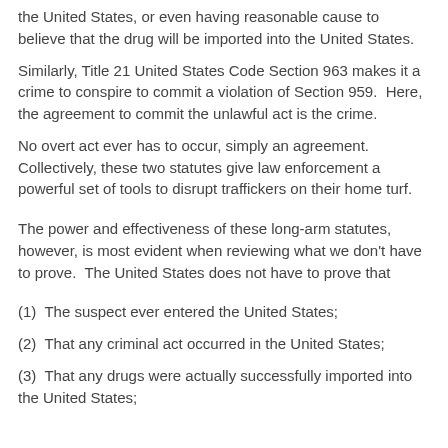the United States, or even having reasonable cause to believe that the drug will be imported into the United States.
Similarly, Title 21 United States Code Section 963 makes it a crime to conspire to commit a violation of Section 959.  Here, the agreement to commit the unlawful act is the crime.
No overt act ever has to occur, simply an agreement.  Collectively, these two statutes give law enforcement a powerful set of tools to disrupt traffickers on their home turf.
The power and effectiveness of these long-arm statutes, however, is most evident when reviewing what we don't have to prove.  The United States does not have to prove that
(1)  The suspect ever entered the United States;
(2)  That any criminal act occurred in the United States;
(3)  That any drugs were actually successfully imported into the United States;